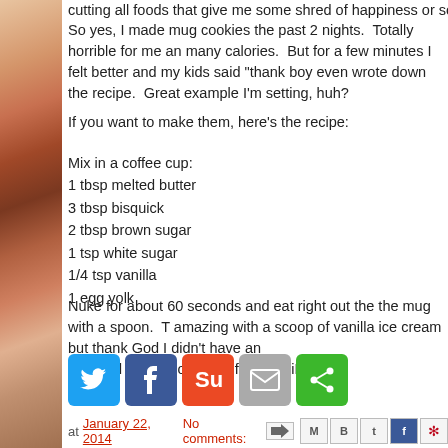cutting all foods that give me some shred of happiness or something like
So yes, I made mug cookies the past 2 nights.  Totally horrible for me and many calories.  But for a few minutes I felt better and my kids said "thank boy even wrote down the recipe.  Great example I'm setting, huh?
If you want to make them, here's the recipe:
Mix in a coffee cup:
1 tbsp melted butter
3 tbsp bisquick
2 tbsp brown sugar
1 tsp white sugar
1/4 tsp vanilla
1 egg yolk
Nuke for about 60 seconds and eat right out the the mug with a spoon.  T amazing with a scoop of vanilla ice cream but thank God I didn't have an
- Posted using BlogPress from my iPhone
[Figure (infographic): Social sharing buttons: Twitter (blue), Facebook (dark blue), StumbleUpon (orange-red), Email (gray), Share (green)]
at January 22, 2014   No comments: